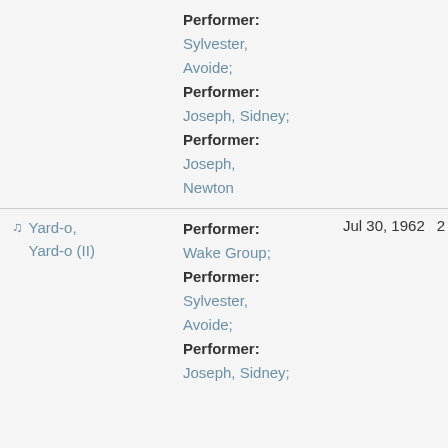Performer:
Sylvester, Avoide;
Performer:
Joseph, Sidney;
Performer:
Joseph, Newton
♫ Yard-o, Yard-o (II)  Performer:  Wake Group;  Jul 30, 1962  2
Performer:
Sylvester, Avoide;
Performer:
Joseph, Sidney;